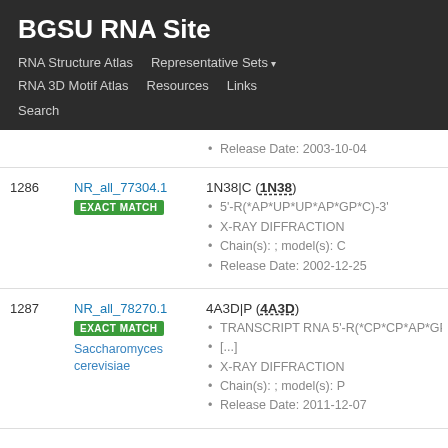BGSU RNA Site
RNA Structure Atlas | Representative Sets ▾ | RNA 3D Motif Atlas ▾ | Resources ▾ | Links ▾ | Search
| # | ID | Info |
| --- | --- | --- |
|  |  | Release Date: 2003-10-04 |
| 1286 | NR_all_77304.1 EXACT MATCH | 1N38|C (1N38)
• 5'-R(*AP*UP*UP*AP*GP*C)-3'
• X-RAY DIFFRACTION
• Chain(s): ; model(s): C
• Release Date: 2002-12-25 |
| 1287 | NR_all_78270.1 EXACT MATCH
Saccharomyces cerevisiae | 4A3D|P (4A3D)
• TRANSCRIPT RNA 5'-R(*CP*CP*AP*GP* [...]
• X-RAY DIFFRACTION
• Chain(s): ; model(s): P
• Release Date: 2011-12-07 |